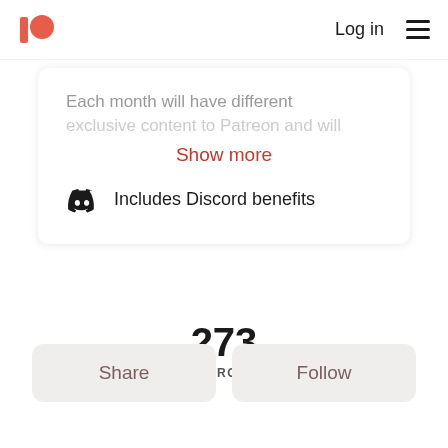Patreon logo | Log in | Menu
Each month will have different
exclusive content to Patreon and will
Show more
Includes Discord benefits
273
PATRONS
Share
Follow